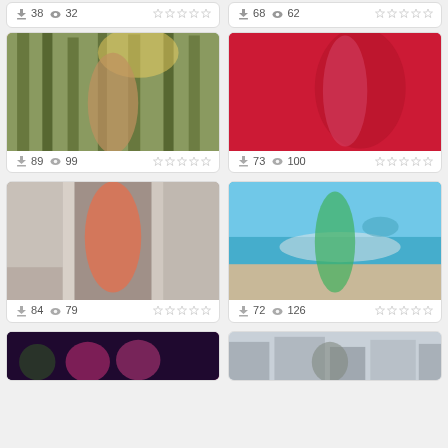[Figure (photo): Top partial card left - download 38, views 32]
[Figure (photo): Top partial card right - download 68, views 62]
[Figure (photo): Young woman in forest with sunlight - download 89, views 99]
[Figure (photo): Woman against red background in dark outfit - download 73, views 100]
[Figure (photo): Woman in red dress by window overlooking sea - download 84, views 79]
[Figure (photo): Woman in green swimsuit on beach rocks - download 72, views 126]
[Figure (photo): Two women at Christmas party - partial]
[Figure (photo): Woman in city street - partial]